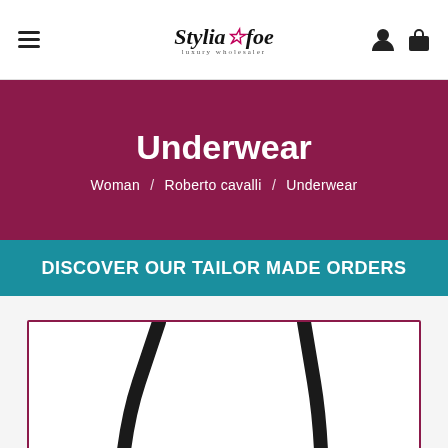Stylia & foe — luxury wholesaler navigation bar with hamburger menu, user icon, and bag icon
Underwear
Woman / Roberto cavalli / Underwear
DISCOVER OUR TAILOR MADE ORDERS
[Figure (photo): Product image of underwear item (bra straps visible) inside a bordered card with dark crimson border on white background]